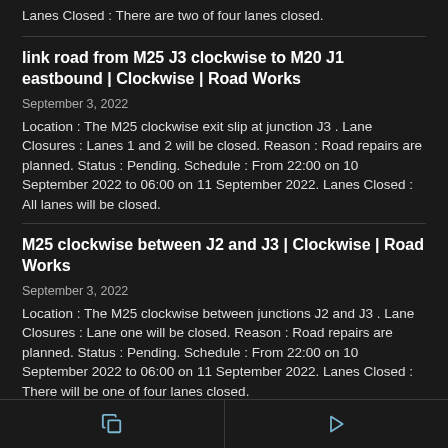Lanes Closed : There are two of four lanes closed.
link road from M25 J3 clockwise to M20 J1 eastbound | Clockwise | Road Works
September 3, 2022
Location : The M25 clockwise exit slip at junction J3 . Lane Closures : Lanes 1 and 2 will be closed. Reason : Road repairs are planned. Status : Pending. Schedule : From 22:00 on 10 September 2022 to 06:00 on 11 September 2022. Lanes Closed : All lanes will be closed.
M25 clockwise between J2 and J3 | Clockwise | Road Works
September 3, 2022
Location : The M25 clockwise between junctions J2 and J3 . Lane Closures : Lane one will be closed. Reason : Road repairs are planned. Status : Pending. Schedule : From 22:00 on 10 September 2022 to 06:00 on 11 September 2022. Lanes Closed : There will be one of four lanes closed.